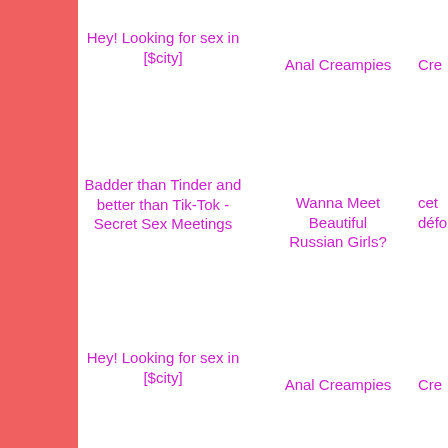Hey! Looking for sex in [$city]
Anal Creampies
Cre
Badder than Tinder and better than Tik-Tok - Secret Sex Meetings
Wanna Meet Beautiful Russian Girls?
cet défor
Hey! Looking for sex in [$city]
Anal Creampies
Cre